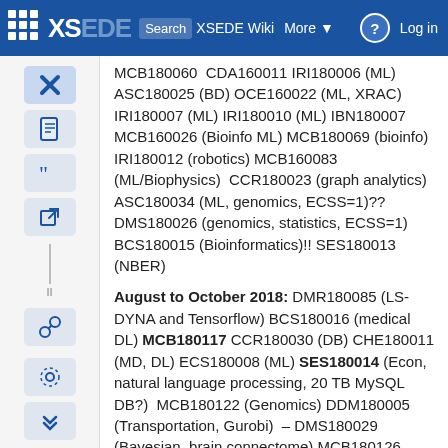XSEDE — Search XSEDE Wiki — More — Log in
MCB180060  CDA160011 IRI180006 (ML) ASC180025 (BD) OCE160022 (ML, XRAC) IRI180007 (ML) IRI180010 (ML) IBN180007 MCB160026 (Bioinfo ML) MCB180069 (bioinfo) IRI180012 (robotics) MCB160083  (ML/Biophysics)  CCR180023 (graph analytics) ASC180034 (ML, genomics, ECSS=1)?? DMS180026 (genomics, statistics, ECSS=1) BCS180015 (Bioinformatics)!! SES180013 (NBER)
August to October 2018: DMR180085 (LS-DYNA and Tensorflow) BCS180016 (medical DL) MCB180117 CCR180030 (DB) CHE180011 (MD, DL) ECS180008 (ML) SES180014 (Econ, natural language processing, 20 TB MySQL DB?)  MCB180122 (Genomics) DDM180005 (Transportation, Gurobi)  – DMS180029 (Bayesian, brain connectome) MCB180126 (multicontrast MR and non-parametric machine learning)